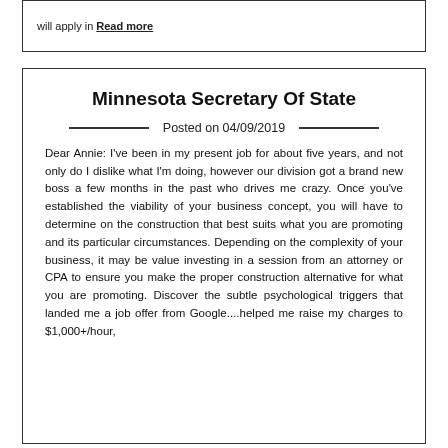will apply in Read more
Minnesota Secretary Of State
Posted on 04/09/2019
Dear Annie: I've been in my present job for about five years, and not only do I dislike what I'm doing, however our division got a brand new boss a few months in the past who drives me crazy. Once you've established the viability of your business concept, you will have to determine on the construction that best suits what you are promoting and its particular circumstances. Depending on the complexity of your business, it may be value investing in a session from an attorney or CPA to ensure you make the proper construction alternative for what you are promoting. Discover the subtle psychological triggers that landed me a job offer from Google....helped me raise my charges to $1,000+/hour,